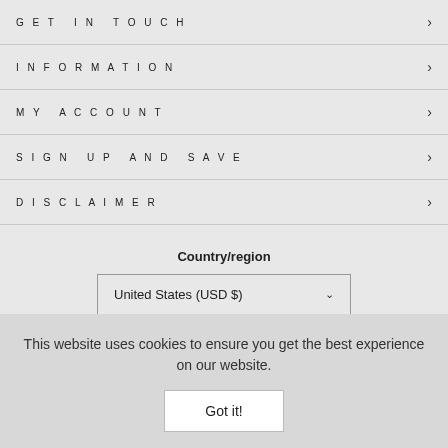GET IN TOUCH
INFORMATION
MY ACCOUNT
SIGN UP AND SAVE
DISCLAIMER
Country/region
United States (USD $)
This website uses cookies to ensure you get the best experience on our website.
Got it!